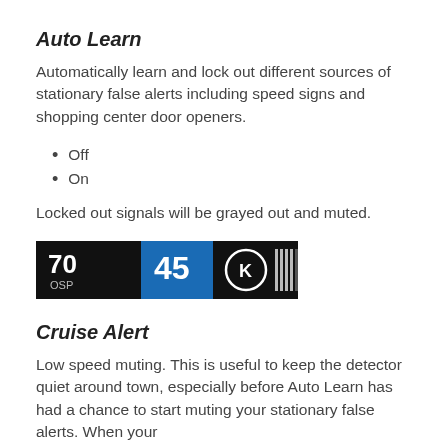Auto Learn
Automatically learn and lock out different sources of stationary false alerts including speed signs and shopping center door openers.
Off
On
Locked out signals will be grayed out and muted.
[Figure (screenshot): Radar detector display showing '70 OSP' on black background, '45' on blue background, 'K' in a circle, and a bar graph of signal strength bars on black background.]
Cruise Alert
Low speed muting. This is useful to keep the detector quiet around town, especially before Auto Learn has had a chance to start muting your stationary false alerts. When your